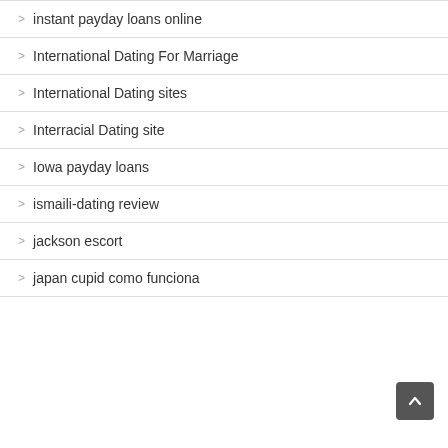instant payday loans online
International Dating For Marriage
International Dating sites
Interracial Dating site
Iowa payday loans
ismaili-dating review
jackson escort
japan cupid como funciona